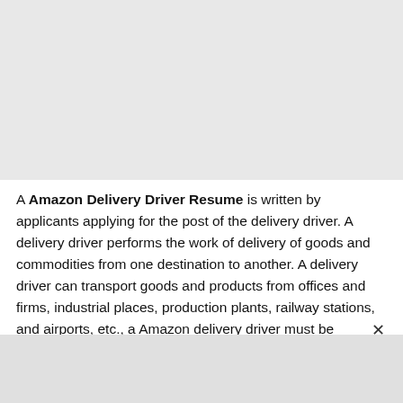[Figure (other): Gray placeholder image block at the top of the page]
A Amazon Delivery Driver Resume is written by applicants applying for the post of the delivery driver. A delivery driver performs the work of delivery of goods and commodities from one destination to another. A delivery driver can transport goods and products from offices and firms, industrial places, production plants, railway stations, and airports, etc., a Amazon delivery driver must be equipped with a valid and clean driving...
[Figure (other): Gray placeholder image block at the bottom of the page]